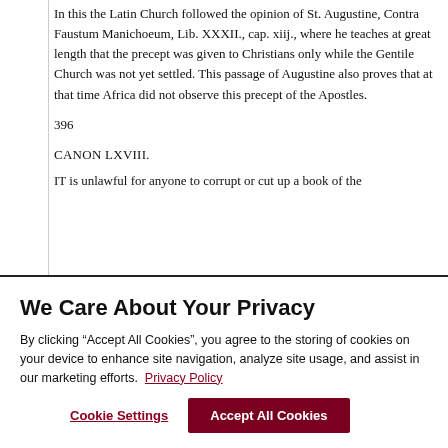In this the Latin Church followed the opinion of St. Augustine, Contra Faustum Manichoeum, Lib. XXXII., cap. xiij., where he teaches at great length that the precept was given to Christians only while the Gentile Church was not yet settled. This passage of Augustine also proves that at that time Africa did not observe this precept of the Apostles.
396
CANON LXVIII.
IT is unlawful for anyone to corrupt or cut up a book of the
We Care About Your Privacy
By clicking “Accept All Cookies”, you agree to the storing of cookies on your device to enhance site navigation, analyze site usage, and assist in our marketing efforts. Privacy Policy